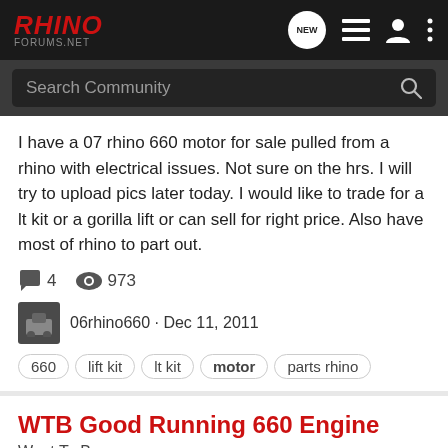RHINO FORUMS.NET — navigation bar with search
I have a 07 rhino 660 motor for sale pulled from a rhino with electrical issues. Not sure on the hrs. I will try to upload pics later today. I would like to trade for a lt kit or a gorilla lift or can sell for right price. Also have most of rhino to part out.
4 comments · 973 views
06rhino660 · Dec 11, 2011
660  lift kit  lt kit  motor  parts rhino
WTB Good Running 660 Engine
Want To Buy
I am looking for a good running 660 engine for my '05 Rhino. I prefer stock with no issues. I am in upstate SC, and am willing to travel a couple hours to pick it up. Otherwise, it will